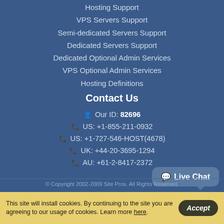Hosting Support
VPS Servers Support
Semi-dedicated Servers Support
Dedicated Servers Support
Dedicated Optional Admin Services
VPS Optional Admin Services
Hosting Definitions
Contact Us
Our ID: 82696
US: +1-855-211-0932
US: +1-727-546-HOST(4678)
UK: +44-20-3695-1294
AU: +61-2-8417-2372
Live Chat
© Copyright 2002-2009 Site Pros. All Rights Reserved.
This site will install cookies. By continuing to the site you are agreeing to our usage of cookies. Learn more here.